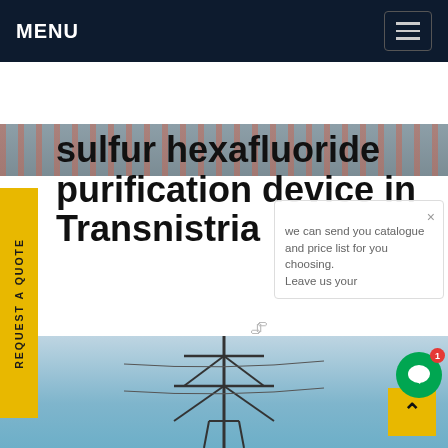MENU
[Figure (photo): Partial view of colorful electrical wiring or cables against a blurred background, shown as a horizontal strip.]
sulfur hexafluoride purification device in Transnistria
100 Sulfur hexafluoride SF6 gas recovery device is a necessary plant for recovering and processing SF6 during the manufacture, installation and maintenance of SF6 electrical appliances. This device has functions of vacuum pumping, filling gas, recovery,purification and gas storage.Get price
[Figure (screenshot): Popup overlay showing text: 'we can send you catalogue and price list for you choosing. Leave us your']
[Figure (photo): Bottom section showing a tall electrical transmission tower/pylon against a blue sky, partially visible.]